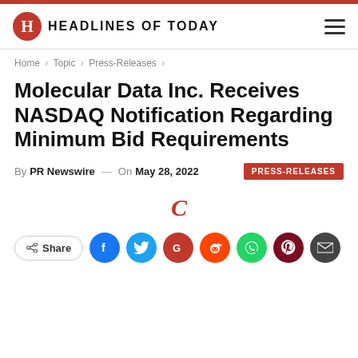HEADLINES OF TODAY
Home > Topic > Press-Releases >
Molecular Data Inc. Receives NASDAQ Notification Regarding Minimum Bid Requirements
By PR Newswire — On May 28, 2022 | PRESS-RELEASES
[Figure (other): Copy/share icon letter C in red italic]
Share buttons: Share, Facebook, Twitter, Google, Reddit, WhatsApp, Pinterest, Email